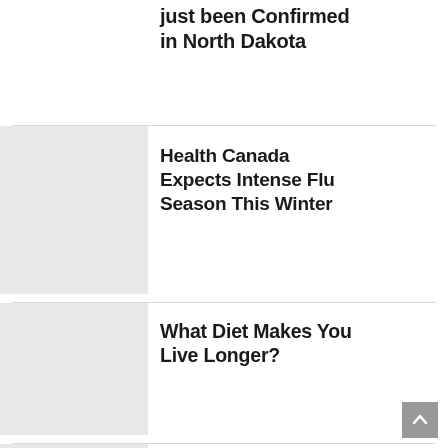just been Confirmed in North Dakota
Health Canada Expects Intense Flu Season This Winter
What Diet Makes You Live Longer?
A Vaccine that Could Cure Cancer to be